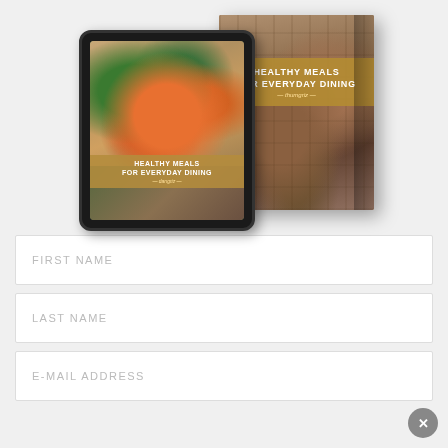[Figure (illustration): A tablet device and a physical book both displaying 'Healthy Meals For Everyday Dining' cookbook cover with food photography showing Asian stir-fry dish and baked goods.]
FIRST NAME
LAST NAME
E-MAIL ADDRESS